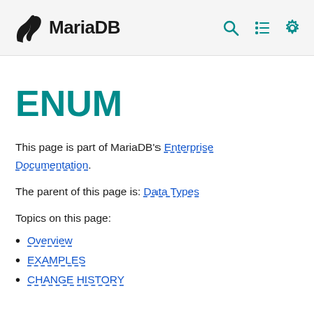MariaDB [logo] | search | menu | settings
ENUM
This page is part of MariaDB's Enterprise Documentation.
The parent of this page is: Data Types
Topics on this page:
Overview
EXAMPLES
CHANGE HISTORY